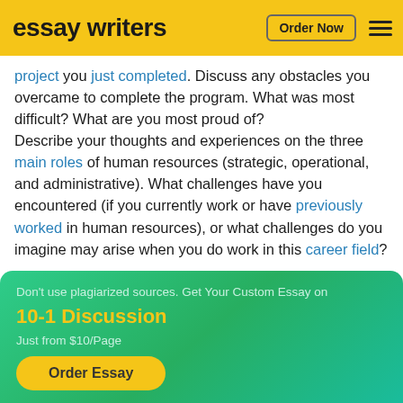essay writers | Order Now
project you just completed. Discuss any obstacles you overcame to complete the program. What was most difficult? What are you most proud of? Describe your thoughts and experiences on the three main roles of human resources (strategic, operational, and administrative). What challenges have you encountered (if you currently work or have previously worked in human resources), or what challenges do you imagine may arise when you do work in this career field?
Don't use plagiarized sources. Get Your Custom Essay on
10-1 Discussion
Just from $10/Page
Order Essay